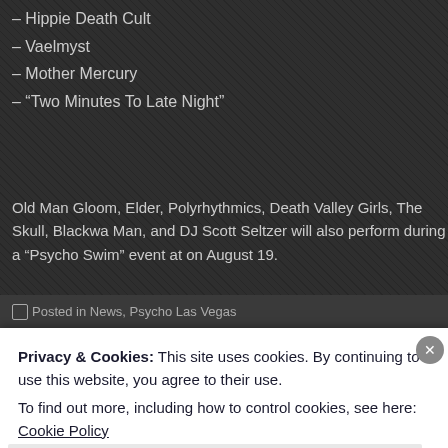– Hippie Death Cult
– Vaelmyst
– Mother Mercury
– "Two Minutes To Late Night"
Old Man Gloom, Elder, Polyrhythmics, Death Valley Girls, The Skull, Blackwa Man, and DJ Scott Seltzer will also perform during a "Psycho Swim" event at on August 19.
Posted in News, Psycho Las Vegas
Tagged Adamantium, Alms, Amigo The Devil, At The Gates, Bōmbers,
Privacy & Cookies: This site uses cookies. By continuing to use this website, you agree to their use.
To find out more, including how to control cookies, see here: Cookie Policy